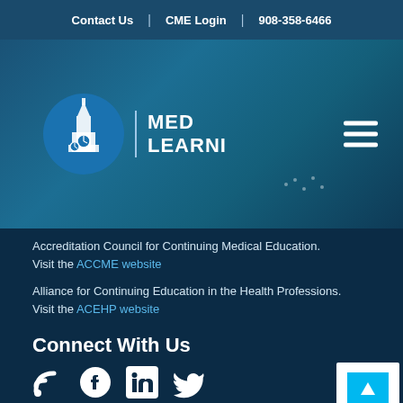Contact Us | CME Login | 908-358-6466
[Figure (logo): MedLearni logo with clock tower building icon in a blue circle, with MED LEARNI text beside it]
Accreditation Council for Continuing Medical Education.
Visit the ACCME website
Alliance for Continuing Education in the Health Professions.
Visit the ACEHP website
Connect With Us
[Figure (illustration): Social media icons: RSS feed, Facebook, LinkedIn, Twitter]
Join Our Mailing List